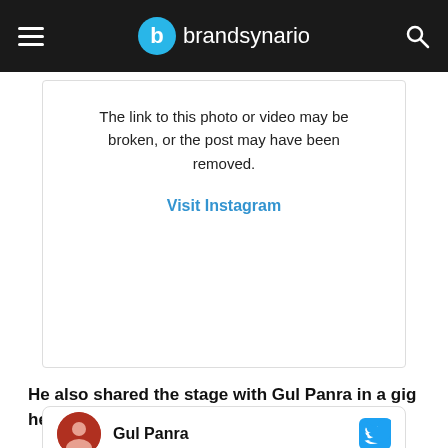brandsynario
[Figure (screenshot): Instagram embed placeholder showing broken link message and Visit Instagram link]
He also shared the stage with Gul Panra in a gig held in Balochistan's University.
[Figure (screenshot): Twitter card showing Gul Panra profile with avatar and Twitter bird icon]